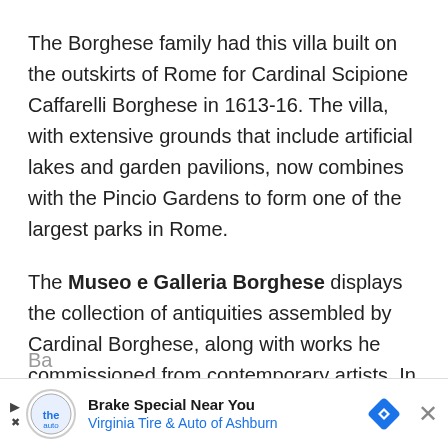The Borghese family had this villa built on the outskirts of Rome for Cardinal Scipione Caffarelli Borghese in 1613-16. The villa, with extensive grounds that include artificial lakes and garden pavilions, now combines with the Pincio Gardens to form one of the largest parks in Rome.
The Museo e Galleria Borghese displays the collection of antiquities assembled by Cardinal Borghese, along with works he commissioned from contemporary artists. In the richly decorated entrance hall are five fragments of a mosaic from Torrenuova showing gladiator and hunting scenes, along with Ba...
[Figure (other): Advertisement banner: 'Brake Special Near You' - Virginia Tire & Auto of Ashburn, with logo, navigation arrow icon, and close button]